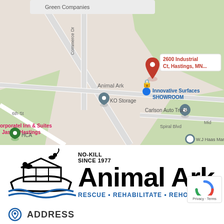[Figure (map): Google Maps screenshot showing the area around 2600 Industrial Ct, Hastings, MN. Visible landmarks include Animal Ark, KO Storage, Innovative Surfaces SHOWROOM, Carlson Auto Truck, Corporatel Inn & Suites Jasper Hastings, YMCA/HCCA, W.J Haas Manufacturing, Spiral Blvd, Commerce Dr, and 26th St.]
[Figure (logo): Animal Ark logo: Noah's ark illustration with animals, text 'NO-KILL SINCE 1977' and large text 'Animal Ark' with blue tagline 'RESCUE • REHABILITATE • REHOME']
ADDRESS